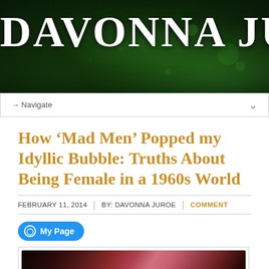[Figure (illustration): Blog header banner with dark green sparkle/bokeh background and large white serif text 'DAVONNA JUROE' partially visible]
→ Navigate
How ‘Mad Men’ Popped my Idyllic Bubble: Truths About Being Female in a 1960s World
FEBRUARY 11, 2014 | BY: DAVONNA JUROE | COMMENT
[Figure (other): My Page button with person icon]
[Figure (photo): Dark reddish-pink abstract/blurred photo, likely a figure with bokeh lighting, bottom portion of image visible]